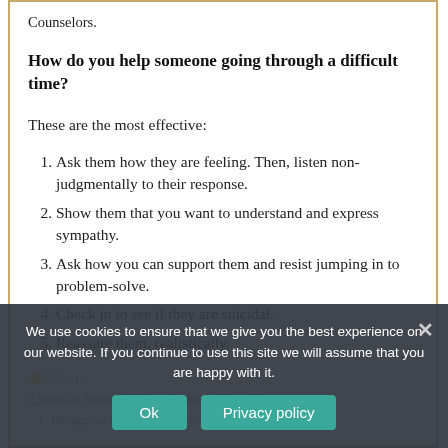Counselors.
How do you help someone going through a difficult time?
These are the most effective:
Ask them how they are feeling. Then, listen non-judgmentally to their response.
Show them that you want to understand and express sympathy.
Ask how you can support them and resist jumping in to problem-solve.
Check in to see if they are suicidal.
Reassure them, realistically.
We use cookies to ensure that we give you the best experience on our website. If you continue to use this site we will assume that you are happy with it.